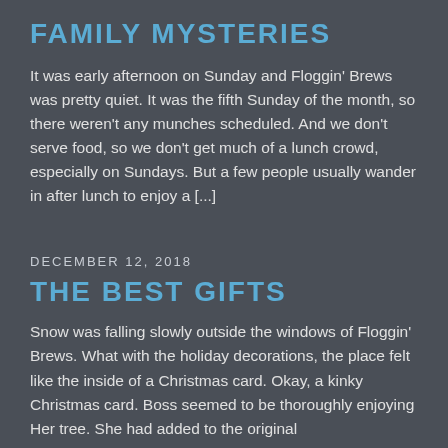FAMILY MYSTERIES
It was early afternoon on Sunday and Floggin' Brews was pretty quiet.  It was the fifth Sunday of the month, so there weren't any munches scheduled.  And we don't serve food, so we don't get much of a lunch crowd, especially on Sundays.  But a few people usually wander in after lunch to enjoy a [...]
DECEMBER 12, 2018
THE BEST GIFTS
Snow was falling slowly outside the windows of Floggin' Brews.  What with the holiday decorations, the place felt like the inside of a Christmas card.  Okay, a kinky Christmas card. Boss seemed to be thoroughly enjoying Her tree.  She had added to the original